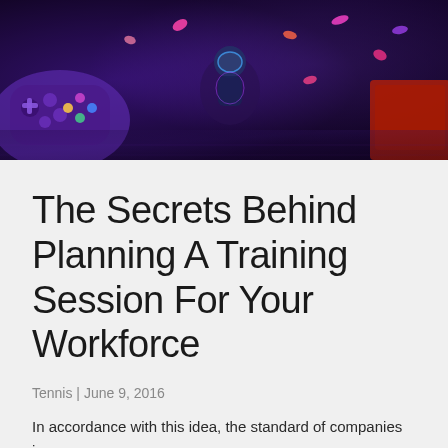[Figure (photo): Overhead view of gaming controllers and figurines under neon purple and blue lighting, with colorful scattered confetti shapes on a dark surface.]
The Secrets Behind Planning A Training Session For Your Workforce
Tennis | June 9, 2016
In accordance with this idea, the standard of companies is